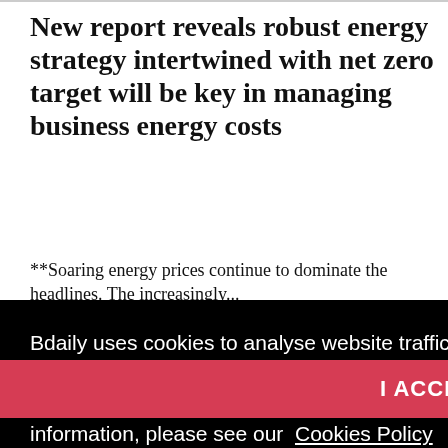New report reveals robust energy strategy intertwined with net zero target will be key in managing business energy costs
**Soaring energy prices continue to dominate the headlines. The increasingly...
Bdaily uses cookies to analyse website traffic, enable social media features and serve you with personalised content and advertisements. This involves the processing of personal information including your IP address and browsing behaviour. For more information, please see our  Cookies Policy
I ACCEPT
is the Great Resignation causing data